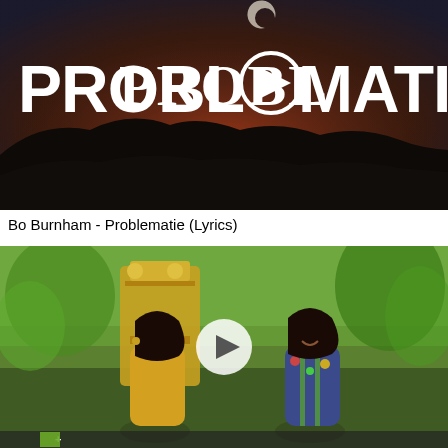[Figure (screenshot): Video thumbnail showing the word PROBLEMATIE in large white stylized letters against a dark reddish-brown twilight sky with a crescent moon and silhouetted hills. In the center of the 'O' is a circular play button icon.]
Bo Burnham - Problematie (Lyrics)
[Figure (screenshot): Video thumbnail showing two young Black women standing outdoors near a golden decorative throne and green trees. The woman on the left wears a yellow outfit; the woman on the right wears a floral top. A white circular play button is visible in the center of the image.]